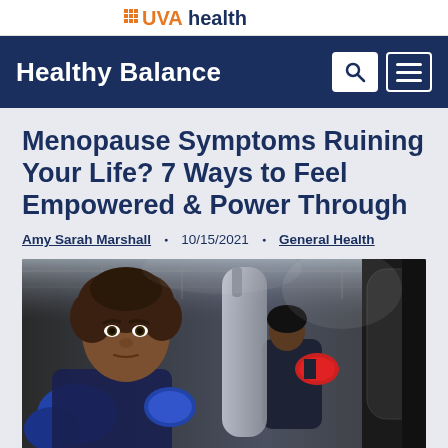UVAHealth
Healthy Balance
Menopause Symptoms Ruining Your Life? 7 Ways to Feel Empowered & Power Through
Amy Sarah Marshall • 10/15/2021 • General Health
[Figure (photo): A Black woman with curly hair wearing blue boxing gloves stands in a boxing gym looking at the camera with a determined expression. In the background, a man in a black hoodie punches a heavy bag.]